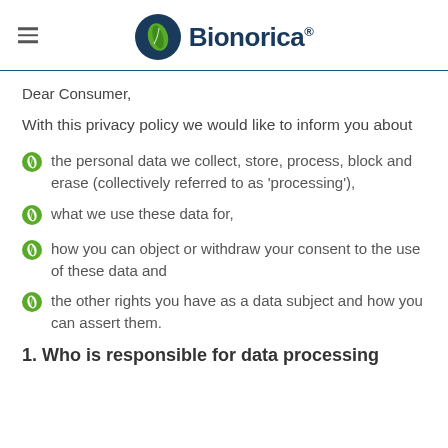Bionorica®
Dear Consumer,
With this privacy policy we would like to inform you about
the personal data we collect, store, process, block and erase (collectively referred to as 'processing'),
what we use these data for,
how you can object or withdraw your consent to the use of these data and
the other rights you have as a data subject and how you can assert them.
1. Who is responsible for data processing